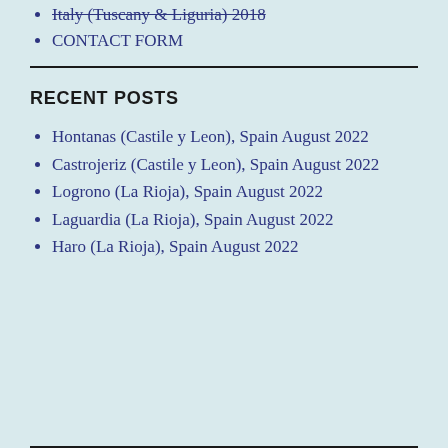Italy (Tuscany & Liguria) 2018
CONTACT FORM
RECENT POSTS
Hontanas (Castile y Leon), Spain August 2022
Castrojeriz (Castile y Leon), Spain August 2022
Logrono (La Rioja), Spain August 2022
Laguardia (La Rioja), Spain August 2022
Haro (La Rioja), Spain August 2022